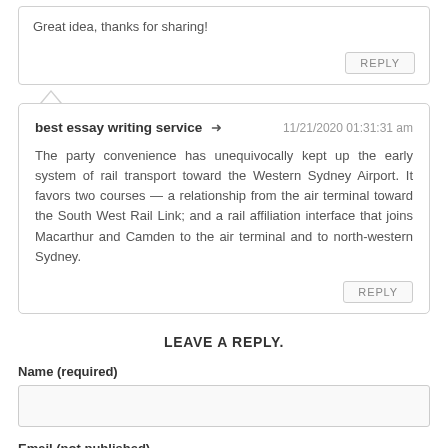Great idea, thanks for sharing!
REPLY
best essay writing service → 11/21/2020 01:31:31 am
The party convenience has unequivocally kept up the early system of rail transport toward the Western Sydney Airport. It favors two courses — a relationship from the air terminal toward the South West Rail Link; and a rail affiliation interface that joins Macarthur and Camden to the air terminal and to north-western Sydney.
REPLY
LEAVE A REPLY.
Name (required)
Email (not published)